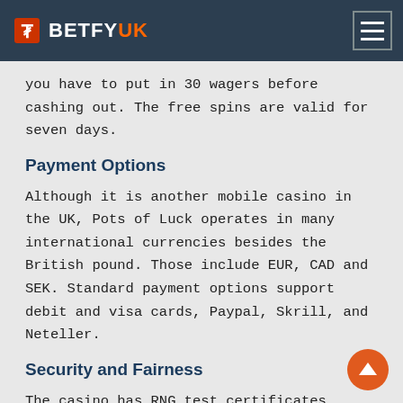BETFYUK
you have to put in 30 wagers before cashing out. The free spins are valid for seven days.
Payment Options
Although it is another mobile casino in the UK, Pots of Luck operates in many international currencies besides the British pound. Those include EUR, CAD and SEK. Standard payment options support debit and visa cards, Paypal, Skrill, and Neteller.
Security and Fairness
The casino has RNG test certificates covering its operations in the UK, Malta, and Gibraltar. Like all of